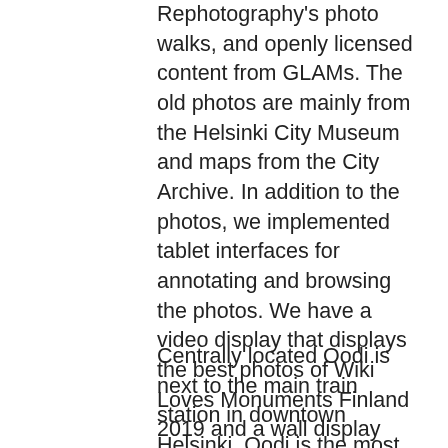Rephotography's photo walks, and openly licensed content from GLAMs. The old photos are mainly from the Helsinki City Museum and maps from the City Archive. In addition to the photos, we implemented tablet interfaces for annotating and browsing the photos. We have a video display that displays the best photos of Wiki Loves Monuments Finland 2019 and a wall display connected to social media that projects photographs posted to Twitter and Instagram. At the beginning of February, we also had projector time for a then-and-now slideshow in Oodi's entrance hall.
Centrally located Oodi is next to the main train station in downtown Helsinki. Oodi is the most popular library in Finland and